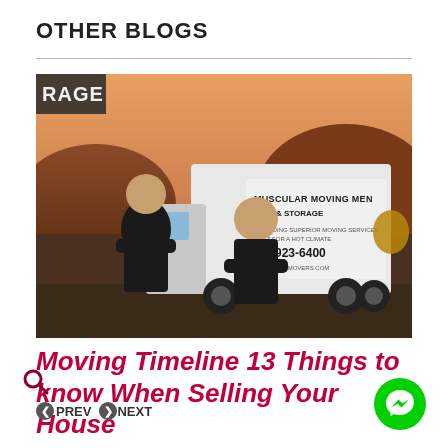OTHER BLOGS
[Figure (photo): Two men in black uniforms standing with arms crossed in front of a white Muscular Moving Men & Storage truck (602-923-6400) with desert mural background.]
Moving Timeline 13 Things to know When Selling Your House
PREV
NEXT